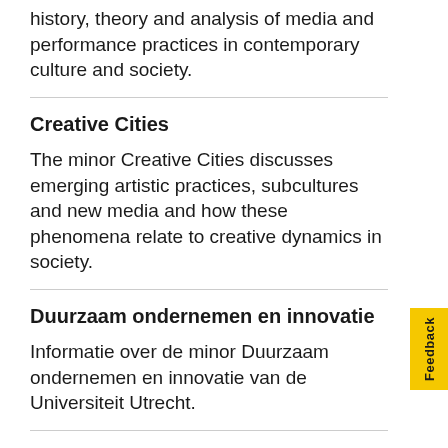history, theory and analysis of media and performance practices in contemporary culture and society.
Creative Cities
The minor Creative Cities discusses emerging artistic practices, subcultures and new media and how these phenomena relate to creative dynamics in society.
Duurzaam ondernemen en innovatie
Informatie over de minor Duurzaam ondernemen en innovatie van de Universiteit Utrecht.
Economics
Information about the minor Economics
Entrepreneurship